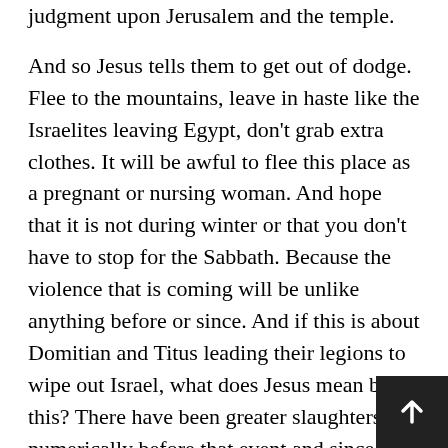judgment upon Jerusalem and the temple.
And so Jesus tells them to get out of dodge. Flee to the mountains, leave in haste like the Israelites leaving Egypt, don’t grab extra clothes. It will be awful to flee this place as a pregnant or nursing woman. And hope that it is not during winter or that you don’t have to stop for the Sabbath. Because the violence that is coming will be unlike anything before or since. And if this is about Domitian and Titus leading their legions to wipe out Israel, what does Jesus mean by this? There have been greater slaughters numerically before that event and since it, so how do we make sense of what Jesus is saying?
It is because from God’s point of view, Israel, not Rome or anywhere else, is the center of the world. Political power is meaningful to history, but th…